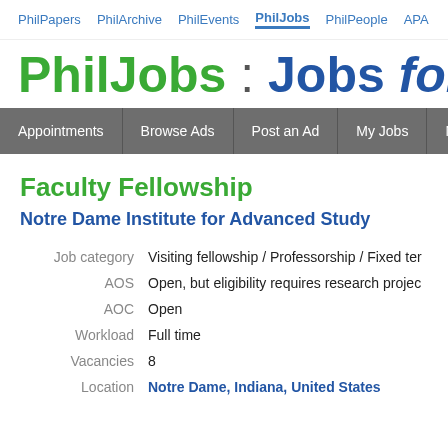PhilPapers  PhilArchive  PhilEvents  PhilJobs  PhilPeople  APA
PhilJobs : Jobs for Philo
Appointments  Browse Ads  Post an Ad  My Jobs  My Search
Faculty Fellowship
Notre Dame Institute for Advanced Study
| Field | Value |
| --- | --- |
| Job category | Visiting fellowship / Professorship / Fixed ter |
| AOS | Open, but eligibility requires research projec |
| AOC | Open |
| Workload | Full time |
| Vacancies | 8 |
| Location | Notre Dame, Indiana, United States |